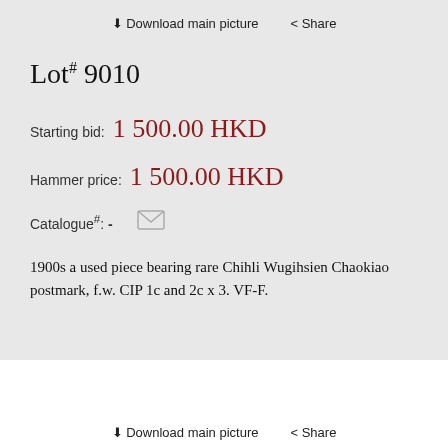⬇ Download main picture   < Share
Lot# 9010
Starting bid:  1 500.00 HKD
Hammer price:  1 500.00 HKD
Catalogue#: -  ✉
1900s a used piece bearing rare Chihli Wugihsien Chaokiao postmark, f.w. CIP 1c and 2c x 3. VF-F.
⬇ Download main picture   < Share